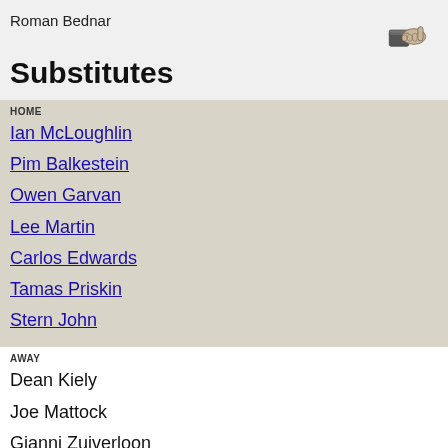Roman Bednar
Substitutes
HOME
Ian McLoughlin
Pim Balkestein
Owen Garvan
Lee Martin
Carlos Edwards
Tamas Priskin
Stern John
AWAY
Dean Kiely
Joe Mattock
Gianni Zuiverloon
Shelton Martis
Filipe Teixeira
Ishmael Miller